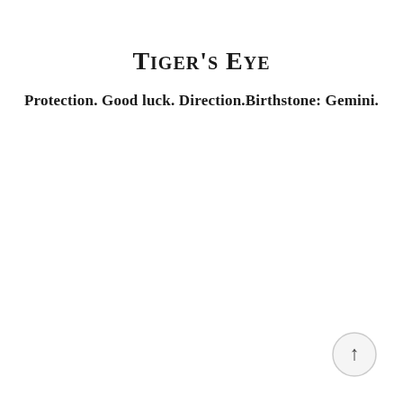Tiger's Eye
Protection. Good luck. Direction.Birthstone: Gemini.
[Figure (other): Circular back-to-top button with an upward arrow, light grey border, positioned at bottom right]